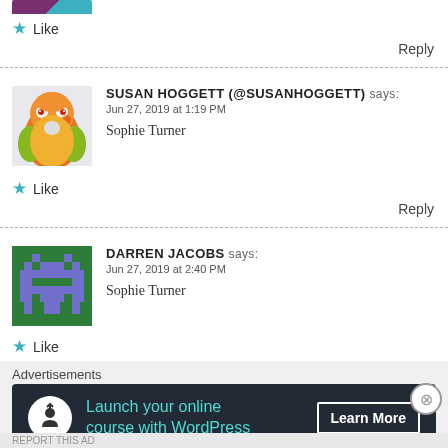[Figure (photo): Partial avatar image at top of page, cropped, showing purple and teal colors]
★ Like
Reply
SUSAN HOGGETT (@SUSANHOGGETT) says:
Jun 27, 2019 at 1:19 PM
[Figure (photo): Avatar photo of a colorful orange and yellow parrot (sun conure) against a light background]
Sophie Turner
★ Like
Reply
DARREN JACOBS says:
Jun 27, 2019 at 2:40 PM
[Figure (illustration): Pixel art style avatar icon on green background — a space invader / retro game character in blue/purple on dark green]
Sophie Turner
★ Like
Advertisements
[Figure (infographic): Dark advertisement banner reading 'Launch your online course with WordPress' with a Learn More button and a white circular icon with a figure/upload symbol]